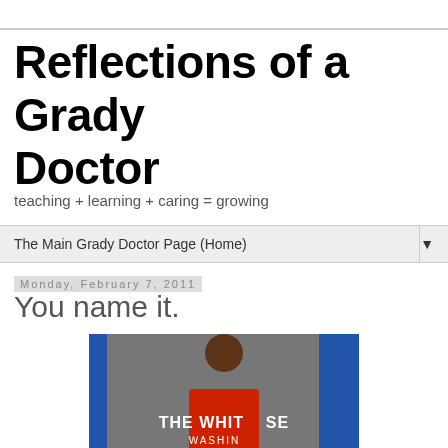Reflections of a Grady Doctor
teaching + learning + caring = growing
The Main Grady Doctor Page (Home)
Monday, February 7, 2011
You name it.
[Figure (photo): A woman in a red jacket standing at a White House podium, in front of the White House seal and blue curtains. The seal reads THE WHITE HOUSE WASHINGTON.]